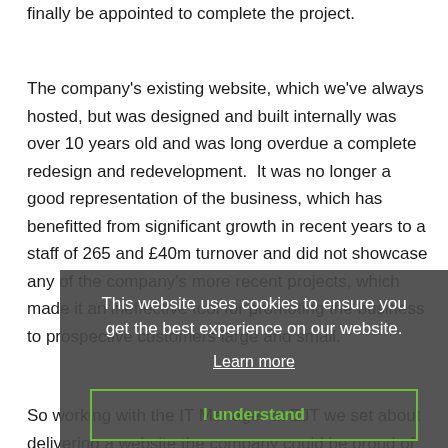finally be appointed to complete the project.
The company's existing website, which we've always hosted, but was designed and built internally was over 10 years old and was long overdue a complete redesign and redevelopment.  It was no longer a good representation of the business, which has benefitted from significant growth in recent years to a staff of 265 and £40m turnover and did not showcase any of the company's more recent projects, which made it an ineffective tool for promoting the business to prospective customers large and small.
This website uses cookies to ensure you get the best experience on our website.
Learn more
I understand
So working with the IT Manager at EJT we set about delivering a website the company could be proud of and